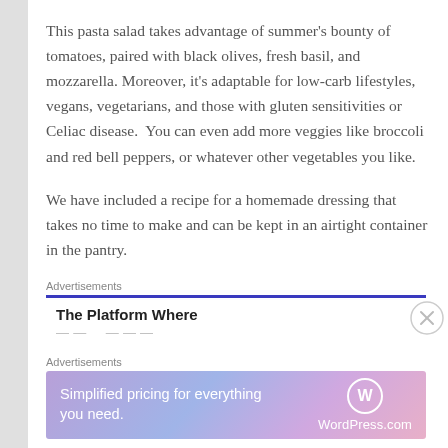This pasta salad takes advantage of summer's bounty of tomatoes, paired with black olives, fresh basil, and mozzarella. Moreover, it's adaptable for low-carb lifestyles, vegans, vegetarians, and those with gluten sensitivities or Celiac disease.  You can even add more veggies like broccoli and red bell peppers, or whatever other vegetables you like.
We have included a recipe for a homemade dressing that takes no time to make and can be kept in an airtight container in the pantry.
Advertisements
[Figure (infographic): Advertisement banner with blue top border showing 'The Platform Where' in bold and partial text below, with an X close button on the right]
Advertisements
[Figure (infographic): WordPress.com advertisement banner with gradient purple/pink background reading 'Simplified pricing for everything you need.' with WordPress.com logo on right]